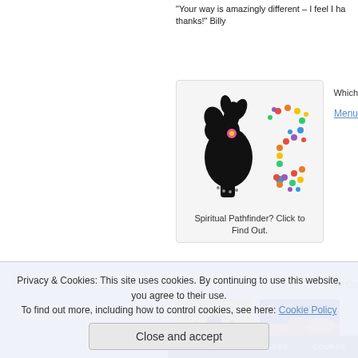“Your way is amazingly different – I feel I ha... thanks!” Billy
[Figure (illustration): Spiritual Pathfinder illustration: silhouette of a woman's head with flowing hair and flower, alongside a decorative question mark made of multicolored dots. Caption reads: Spiritual Pathfinder? Click to Find Out.]
Which
Menu
More Op...
[Figure (photo): Silhouette of a person with arms raised against a bright yellow-green background]
[Figure (photo): Silhouette of a person at sunset with colorful orange and blue sky]
Privacy & Cookies: This site uses cookies. By continuing to use this website, you agree to their use.
To find out more, including how to control cookies, see here: Cookie Policy
Close and accept
SESSIONS   PACKAGES   COURSES